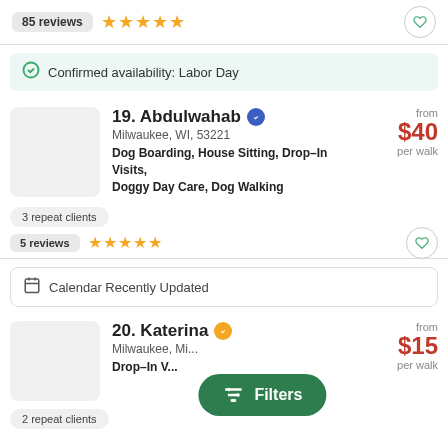85 reviews ★★★★★
Confirmed availability: Labor Day
19. Abdulwahab [verified] Milwaukee, WI, 53221 Dog Boarding, House Sitting, Drop-In Visits, Doggy Day Care, Dog Walking from $40 per walk
3 repeat clients
5 reviews ★★★★★
Calendar Recently Updated
20. Katerina [verified] Milwaukee, ... Drop-In V... from $15 per walk
2 repeat clients
Filters